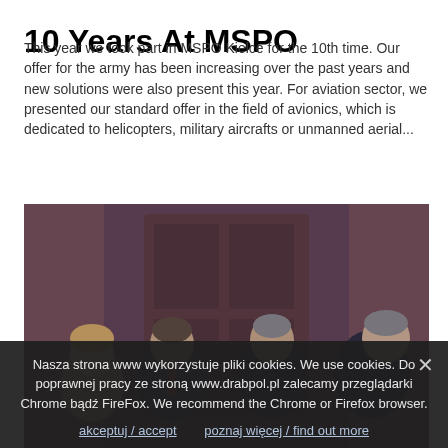10 Years At MSPO
This year we took part in MSPO Kielce for the 10th time. Our offer for the army has been increasing over the past years and new solutions were also present this year. For aviation sector, we presented our standard offer in the field of avionics, which is dedicated to helicopters, military aircrafts or unmanned aerial...
[Figure (photo): Group of four people (one woman and three men) in formal attire standing together in an ornate room, appearing to be at a formal event or meeting.]
Nasza strona www wykorzystuje pliki cookies. We use cookies. Do poprawnej pracy ze stroną www.drabpol.pl zalecamy przeglądarki Chrome bądź FireFox. We recommend the Chrome or Firefox browser.
akceptuj / accept   poznaj więcej / find out more